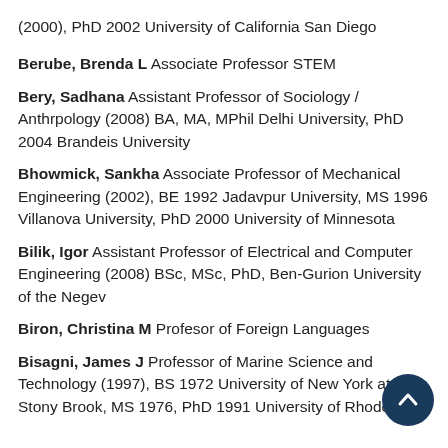(2000), PhD 2002 University of California San Diego
Berube, Brenda L Associate Professor STEM
Bery, Sadhana Assistant Professor of Sociology / Anthrpology (2008) BA, MA, MPhil Delhi University, PhD 2004 Brandeis University
Bhowmick, Sankha Associate Professor of Mechanical Engineering (2002), BE 1992 Jadavpur University, MS 1996 Villanova University, PhD 2000 University of Minnesota
Bilik, Igor Assistant Professor of Electrical and Computer Engineering (2008) BSc, MSc, PhD, Ben-Gurion University of the Negev
Biron, Christina M Profesor of Foreign Languages
Bisagni, James J Professor of Marine Science and Technology (1997), BS 1972 University of New York at Stony Brook, MS 1976, PhD 1991 University of Rhode